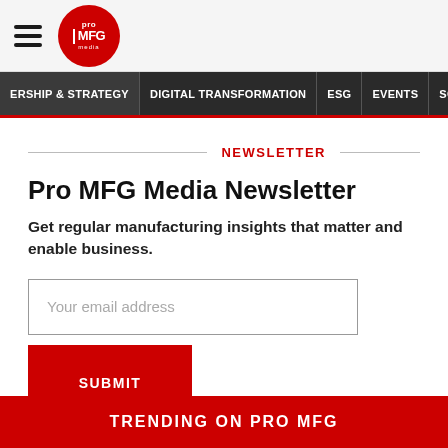[Figure (logo): Pro MFG Media logo — red circle with white text 'pro MFG media']
ERSHIP & STRATEGY | DIGITAL TRANSFORMATION | ESG | EVENTS | SCM
NEWSLETTER
Pro MFG Media Newsletter
Get regular manufacturing insights that matter and enable business.
Your email address
SUBMIT
TRENDING ON PRO MFG